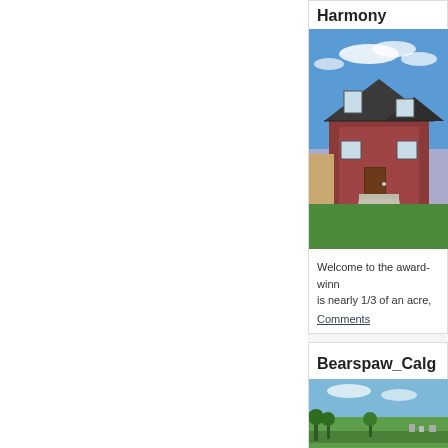Harmony
[Figure (photo): Exterior photo of a two-storey red brick house with grey roof under blue sky with green lawn]
Welcome to the award-winn... is nearly 1/3 of an acre,
Comments
Bearspaw_Calg
[Figure (photo): Aerial landscape photo of Bearspaw Calgary area showing green fields and trees]